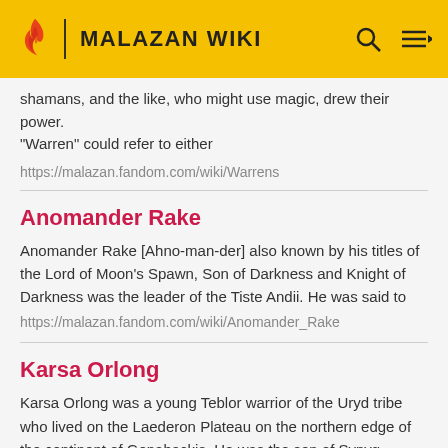MALAZAN WIKI
shamans, and the like, who might use magic, drew their power. "Warren" could refer to either
https://malazan.fandom.com/wiki/Warrens
Anomander Rake
Anomander Rake [Ahno-man-der] also known by his titles of the Lord of Moon's Spawn, Son of Darkness and Knight of Darkness was the leader of the Tiste Andii. He was said to
https://malazan.fandom.com/wiki/Anomander_Rake
Karsa Orlong
Karsa Orlong was a young Teblor warrior of the Uryd tribe who lived on the Laederon Plateau on the northern edge of the continent of Genabackis. He was the son of Synyg Orlong and the
https://malazan.fandom.com/wiki/Karsa_Orlong